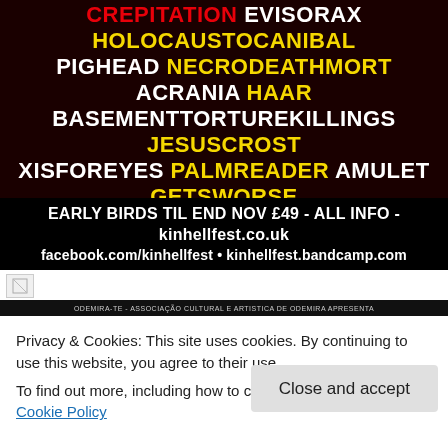[Figure (illustration): Festival poster for kinhellfest on dark red/black background listing bands: CREPITATION EVISORAX HOLOCAUSTOCANIBAL PIGHEAD NECRODEATHMORT ACRANIA HAAR BASEMENTTORTUREKILLINGS JESUSCROST XISFOREYES PALMREADER AMULET GETSWORSE NOISECOMPLAINT MONOLITHIAN ROTINHELL FAMINE INIQUITOUSSAVAGERY THEDAYMANLOST WIZARDSBEARD DEATHTRIPPER EPHEMERALFOETUS MORE T.B.A. With info: EARLY BIRDS TIL END NOV £49 - ALL INFO - kinhellfest.co.uk facebook.com/kinhellfest kinhellfest.bandcamp.com]
[Figure (photo): Broken image placeholder]
ODEMIRA-TE - ASSOCIAÇÃO CULTURAL E ARTISTICA DE ODEMIRA APRESENTA
Privacy & Cookies: This site uses cookies. By continuing to use this website, you agree to their use.
To find out more, including how to control cookies, see here: Cookie Policy
Close and accept